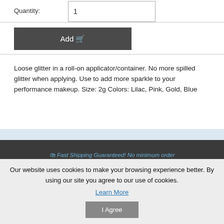| Quantity: |  |
| --- | --- |
|  | 1 |
[Figure (screenshot): Add to cart button with dark gray background and shopping cart icon]
Loose glitter in a roll-on applicator/container. No more spilled glitter when applying. Use to add more sparkle to your performance makeup. Size: 2g Colors: Lilac, Pink, Gold, Blue
Fast Shipping Guaranteed! No minimum order
Our website uses cookies to make your browsing experience better. By using our site you agree to our use of cookies.
Learn More
I Agree